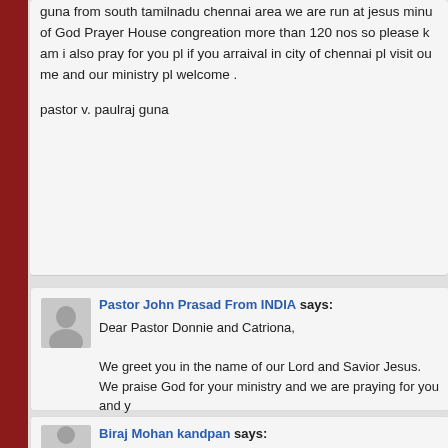guna from south tamilnadu chennai area we are run at jesus minu of God Prayer House congreation more than 120 nos so please k am i also pray for you pl if you arraival in city of chennai pl visit ou me and our ministry pl welcome .

pastor v. paulraj guna
Pastor John Prasad From INDIA says:
Dear Pastor Donnie and Catriona,

We greet you in the name of our Lord and Savior Jesus.
We praise God for your ministry and we are praying for you and y become a partnership with you and with your Ministry. We are pla outreach Revival outreach meetings. We would like to invite you p the midst of the Indian people and pastors. Please come to India Pastors would like to invite you as one of main speaker of these n these meetings. We are looking forward to hear from you soon. In

Pastor John Prasad

Please visit our http://www.agcma.org
My cell number 0091- 9676795407
Biraj Mohan kandpan says: